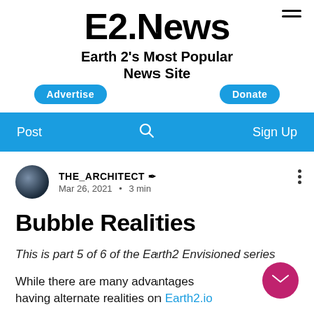E2.News
Earth 2's Most Popular News Site
Advertise   Donate
Post   Search   Sign Up
THE_ARCHITECT ✒  Mar 26, 2021 · 3 min
Bubble Realities
This is part 5 of 6 of the Earth2 Envisioned series
While there are many advantages to having alternate realities on Earth2.io